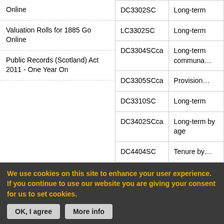Online
Valuation Rolls for 1885 Go Online
Public Records (Scotland) Act 2011 - One Year On
| Code | Description |
| --- | --- |
| DC3302SC | Long-term… |
| LC3302SC | Long-term… |
| DC3304SCca | Long-term… communa… |
| DC3305SCca | Provision… |
| DC3310SC | Long-term… |
| DC3402SCca | Long-term… by age |
| DC4404SC | Tenure by… |
All the data contained in th…
We use cookies on this site to enhance your user experience. If you continue to use our website you are giving your consent for us to set cookies.